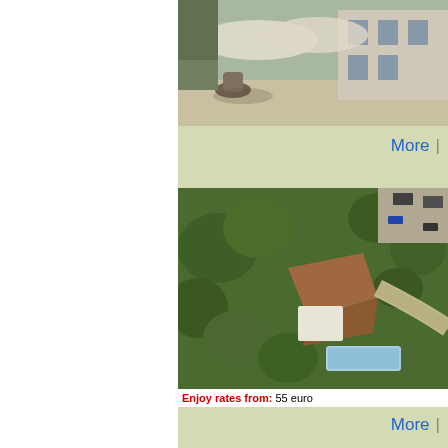[Figure (photo): Hotel exterior photo showing courtyard with umbrellas and stone building facade]
More |
[Figure (photo): Aerial view of hotel property surrounded by trees with pool visible]
Enjoy rates from: 55 euro
More |
From Hotel